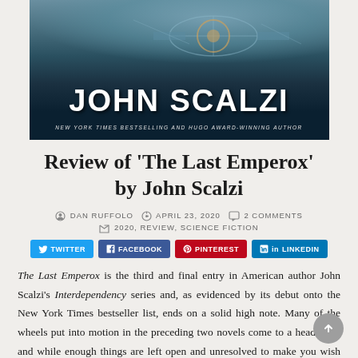[Figure (photo): Book cover showing 'John Scalzi' in large white bold text with subtitle 'New York Times Bestselling and Hugo Award-Winning Author' on a dark sci-fi background with space station imagery]
Review of ‘The Last Emperox’ by John Scalzi
ⓘ DAN RUFFOLO   ⏰ APRIL 23, 2020   💬 2 COMMENTS   📂 2020, REVIEW, SCIENCE FICTION
TWITTER  FACEBOOK  PINTEREST  LINKEDIN
The Last Emperox is the third and final entry in American author John Scalzi’s Interdependency series and, as evidenced by its debut onto the New York Times bestseller list, ends on a solid high note. Many of the wheels put into motion in the preceding two novels come to a head here, and while enough things are left open and unresolved to make you wish for more books in the